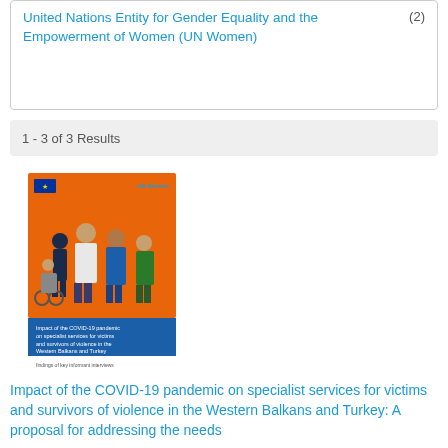United Nations Entity for Gender Equality and the Empowerment of Women (UN Women) (2)
1 - 3 of 3 Results
[Figure (illustration): Book/report cover image showing illustrated healthcare workers and a person in a wheelchair on an orange background, with text about COVID-19 pandemic impact on specialist services, Western Balkans and Turkey.]
Impact of the COVID-19 pandemic on specialist services for victims and survivors of violence in the Western Balkans and Turkey: A proposal for addressing the needs
Date: Wednesday, 27 May 2020
The report on "The impact of the COVID-19 pandemic on specialist services for victims and survivors of violence in the Western Balkans and Turkey: A proposal for addressing the needs" is a rapid assessment of specialist services to women who experienced violence to better understand the challenges posed to service delivery, as well as to explore new opportunities for innovative